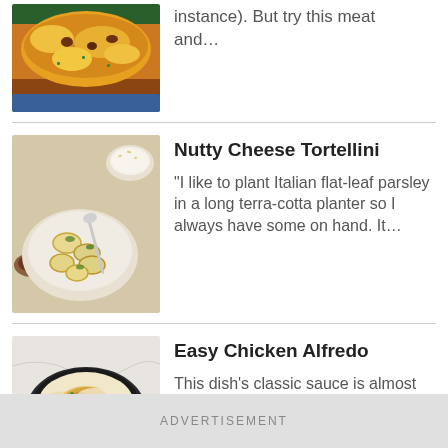[Figure (photo): Partial view of a cheesy baked pasta/taco casserole dish with ground meat and melted yellow cheese on top]
instance). But try this meat and…
[Figure (photo): Bowl of cheese tortellini with herbs and grated parmesan, with a smaller bowl of parmesan and a wooden dish of pepper]
Nutty Cheese Tortellini
"I like to plant Italian flat-leaf parsley in a long terra-cotta planter so I always have some on hand. It…
[Figure (photo): Dark bowl of fettuccine Alfredo with chicken, garnished with parsley, served on a marble surface]
Easy Chicken Alfredo
This dish's classic sauce is almost as simple as opening up a jar but tastes so much
ADVERTISEMENT